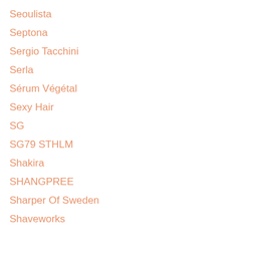Seoulista
Septona
Sergio Tacchini
Serla
Sérum Végétal
Sexy Hair
SG
SG79 STHLM
Shakira
SHANGPREE
Sharper Of Sweden
Shaveworks